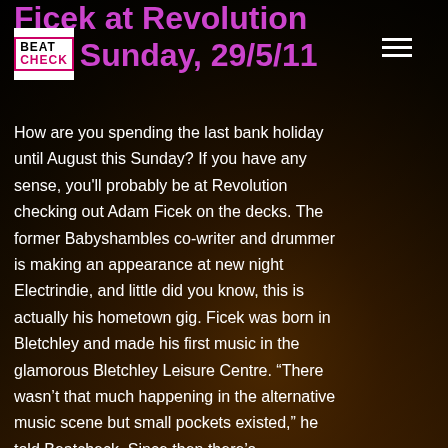Ficek at Revolution this Sunday, 29/5/11
[Figure (logo): Beatcheck logo — white box with BEAT in black and CHECK in pink/magenta text]
How are you spending the last bank holiday until August this Sunday? If you have any sense, you'll probably be at Revolution checking out Adam Ficek on the decks. The former Babyshambles co-writer and drummer is making an appearance at new night Electrindie, and little did you know, this is actually his hometown gig. Ficek was born in Bletchley and made his first music in the glamorous Bletchley Leisure Centre. “There wasn’t that much happening in the alternative music scene but small pockets existed,” he told Beatcheck. Since then there’s…